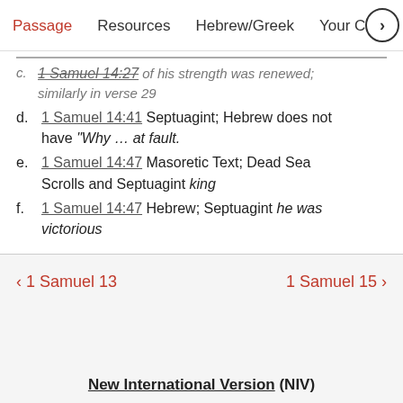Passage   Resources   Hebrew/Greek   Your Conte >
c. 1 Samuel 14:27 of his strength was renewed; similarly in verse 29
d. 1 Samuel 14:41 Septuagint; Hebrew does not have “Why … at fault.
e. 1 Samuel 14:47 Masoretic Text; Dead Sea Scrolls and Septuagint king
f. 1 Samuel 14:47 Hebrew; Septuagint he was victorious
< 1 Samuel 13   1 Samuel 15 >
New International Version (NIV)